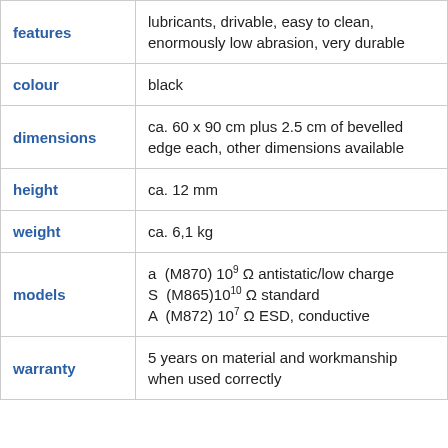| Property | Value |
| --- | --- |
| features | lubricants, drivable, easy to clean, enormously low abrasion, very durable |
| colour | black |
| dimensions | ca. 60 x 90 cm plus 2.5 cm of bevelled edge each, other dimensions available |
| height | ca. 12 mm |
| weight | ca. 6,1 kg |
| models | a (M870) 10^9 Ω antistatic/low charge
S (M865)10^10 Ω standard
A (M872) 10^7 Ω ESD, conductive |
| warranty | 5 years on material and workmanship when used correctly |